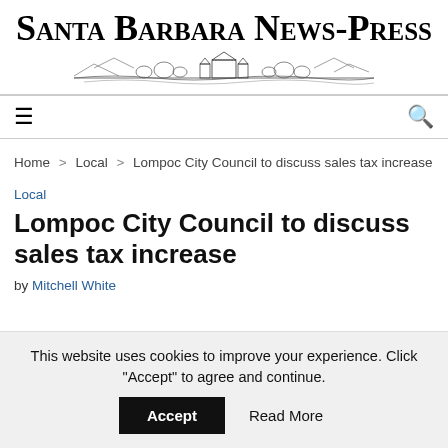Santa Barbara News-Press
Home > Local > Lompoc City Council to discuss sales tax increase
Local
Lompoc City Council to discuss sales tax increase
by Mitchell White
This website uses cookies to improve your experience. Click "Accept" to agree and continue.  Accept  Read More